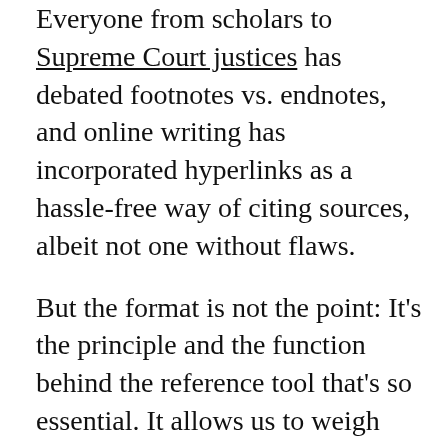Everyone from scholars to Supreme Court justices has debated footnotes vs. endnotes, and online writing has incorporated hyperlinks as a hassle-free way of citing sources, albeit not one without flaws.
But the format is not the point: It's the principle and the function behind the reference tool that's so essential. It allows us to weigh evidence against assertion. A footnote reveals the load-bearing structure of a piece of writing, whether it is scientific research, historical analysis or a legal finding...
The footnote, as historian Anthony Grafton observed, allows